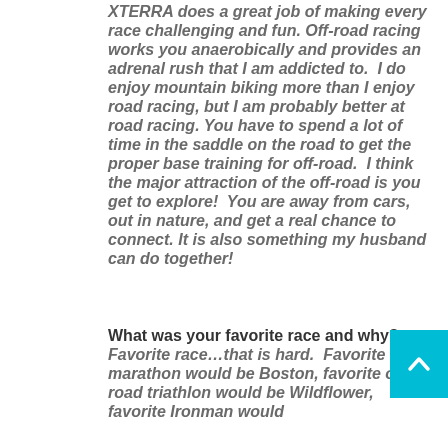XTERRA does a great job of making every race challenging and fun. Off-road racing works you anaerobically and provides an adrenal rush that I am addicted to.  I do enjoy mountain biking more than I enjoy road racing, but I am probably better at road racing. You have to spend a lot of time in the saddle on the road to get the proper base training for off-road.  I think the major attraction of the off-road is you get to explore!  You are away from cars, out in nature, and get a real chance to connect. It is also something my husband can do together!
What was your favorite race and why? Favorite race…that is hard.  Favorite marathon would be Boston, favorite on-road triathlon would be Wildflower, favorite Ironman would